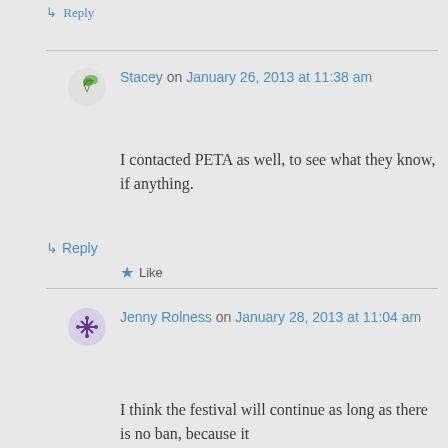↳ Reply
Stacey on January 26, 2013 at 11:38 am
I contacted PETA as well, to see what they know, if anything.
★ Like
↳ Reply
Jenny Rolness on January 28, 2013 at 11:04 am
I think the festival will continue as long as there is no ban, because it